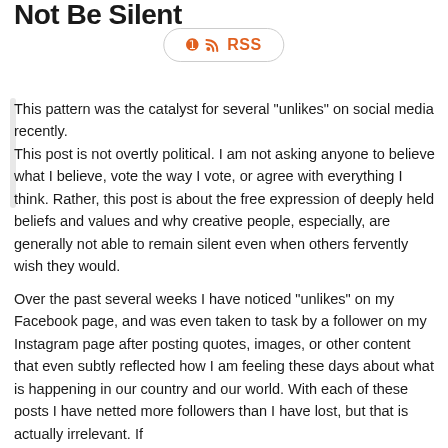Not Be Silent
[Figure (other): RSS subscription button with RSS icon and label]
This pattern was the catalyst for several "unlikes" on social media recently.
This post is not overtly political. I am not asking anyone to believe what I believe, vote the way I vote, or agree with everything I think. Rather, this post is about the free expression of deeply held beliefs and values and why creative people, especially, are generally not able to remain silent even when others fervently wish they would.
Over the past several weeks I have noticed "unlikes" on my Facebook page, and was even taken to task by a follower on my Instagram page after posting quotes, images, or other content that even subtly reflected how I am feeling these days about what is happening in our country and our world. With each of these posts I have netted more followers than I have lost, but that is actually irrelevant. If